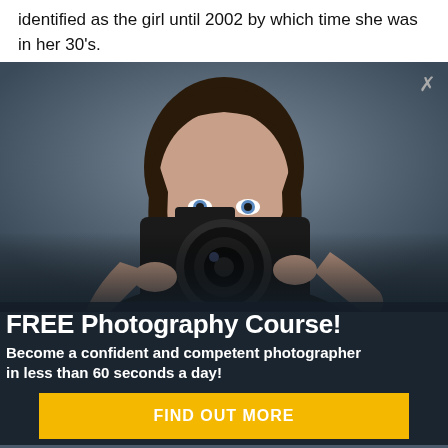identified as the girl until 2002 by which time she was in her 30's.
[Figure (photo): Advertisement overlay showing a young woman holding a DSLR camera up to her face, with a dark blue-grey blurred background. A close/dismiss button (×) appears in the top right corner of the overlay.]
FREE Photography Course!
Become a confident and competent photographer in less than 60 seconds a day!
FIND OUT MORE